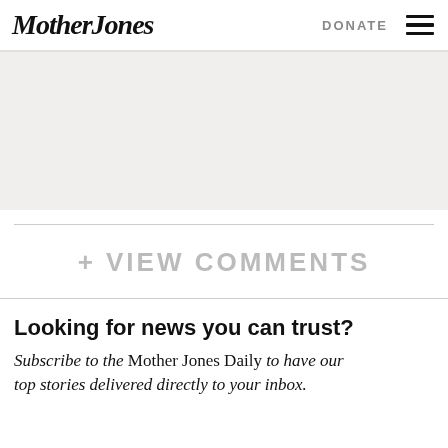Mother Jones | DONATE
[Figure (other): Light gray advertisement banner placeholder area]
+ VIEW COMMENTS
Looking for news you can trust?
Subscribe to the Mother Jones Daily to have our top stories delivered directly to your inbox.